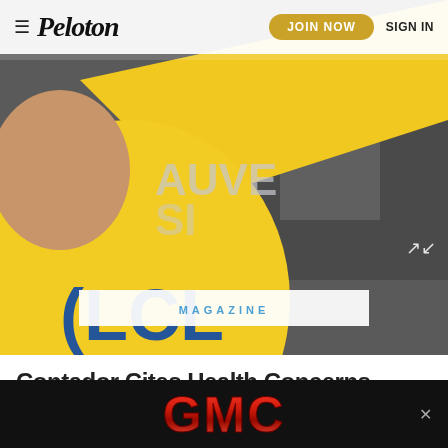≡ Peloton   JOIN NOW   SIGN IN
[Figure (photo): Cyclist wearing yellow LCL Tour de France leader jersey celebrating on podium with arm raised, background shows dark gray podium area and partial text 'AUVE']
MAGAZINE
Contador Cites Health Concerns
[Figure (logo): GMC logo in red metallic letters on black background advertisement banner]